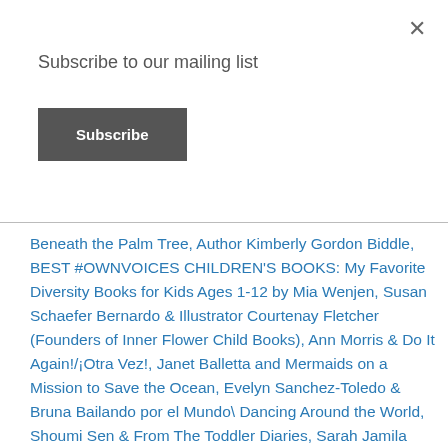×
Subscribe to our mailing list
Subscribe
Beneath the Palm Tree, Author Kimberly Gordon Biddle, BEST #OWNVOICES CHILDREN'S BOOKS: My Favorite Diversity Books for Kids Ages 1-12 by Mia Wenjen, Susan Schaefer Bernardo & Illustrator Courtenay Fletcher (Founders of Inner Flower Child Books), Ann Morris & Do It Again!/¡Otra Vez!, Janet Balletta and Mermaids on a Mission to Save the Ocean, Evelyn Sanchez-Toledo & Bruna Bailando por el Mundo\ Dancing Around the World, Shoumi Sen & From The Toddler Diaries, Sarah Jamila Stevenson, Tonya Duncan and the Sophie Washington Book Series, Teresa Robeson  & The Queen of Physics, Nadishka Aloysius and Roo The Little Red TukTuk